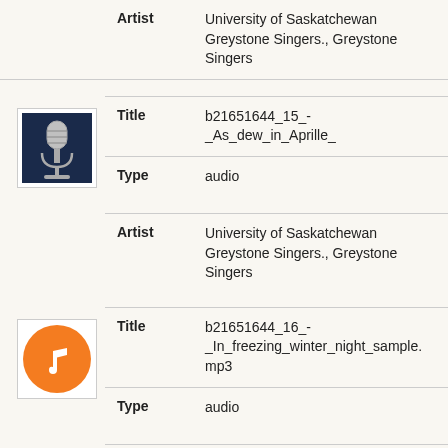Artist: University of Saskatchewan Greystone Singers., Greystone Singers
[Figure (illustration): Vintage microphone icon on dark blue background]
Title: b21651644_15_-_As_dew_in_Aprille_
Type: audio
Artist: University of Saskatchewan Greystone Singers., Greystone Singers
[Figure (illustration): Orange circle with white music note icon]
Title: b21651644_16_-_In_freezing_winter_night_sample.mp3
Type: audio
Artist: University of Saskatchewan Greystone Singers., Greystone